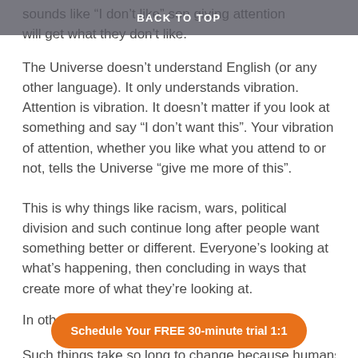BACK TO TOP
sounds like "I don't like" [person giving attention will get what they don't like.
The Universe doesn't understand English (or any other language). It only understands vibration. Attention is vibration. It doesn't matter if you look at something and say “I don’t want this”. Your vibration of attention, whether you like what you attend to or not, tells the Universe “give me more of this”.
This is why things like racism, wars, political division and such continue long after people want something better or different. Everyone’s looking at what’s happening, then concluding in ways that create more of what they’re looking at.
In other wor…
[Figure (other): Orange rounded button with white bold text: 'Schedule Your FREE 30-minute trial 1:1']
Such things take so long to change because humans also…